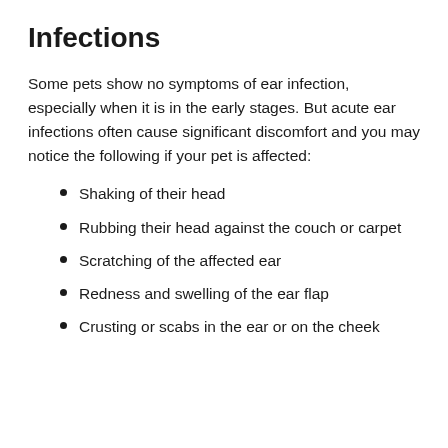Infections
Some pets show no symptoms of ear infection, especially when it is in the early stages. But acute ear infections often cause significant discomfort and you may notice the following if your pet is affected:
Shaking of their head
Rubbing their head against the couch or carpet
Scratching of the affected ear
Redness and swelling of the ear flap
Crusting or scabs in the ear or on the cheek